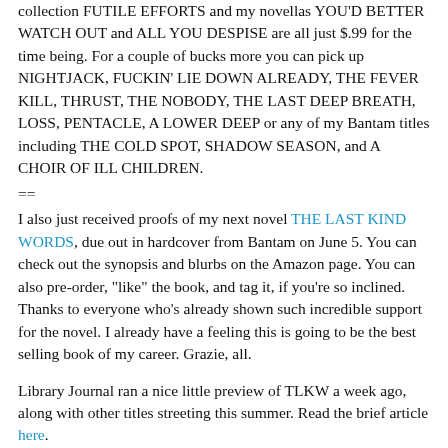collection FUTILE EFFORTS and my novellas YOU'D BETTER WATCH OUT and ALL YOU DESPISE are all just $.99 for the time being. For a couple of bucks more you can pick up NIGHTJACK, FUCKIN' LIE DOWN ALREADY, THE FEVER KILL, THRUST, THE NOBODY, THE LAST DEEP BREATH, LOSS, PENTACLE, A LOWER DEEP or any of my Bantam titles including THE COLD SPOT, SHADOW SEASON, and A CHOIR OF ILL CHILDREN.
==
I also just received proofs of my next novel THE LAST KIND WORDS, due out in hardcover from Bantam on June 5. You can check out the synopsis and blurbs on the Amazon page. You can also pre-order, "like" the book, and tag it, if you're so inclined. Thanks to everyone who's already shown such incredible support for the novel. I already have a feeling this is going to be the best selling book of my career. Grazie, all.
Library Journal ran a nice little preview of TLKW a week ago, along with other titles streeting this summer. Read the brief article here.
==
Crime Factory #9 packs a hell of a lot of knockout content:
along with... [content cut off]